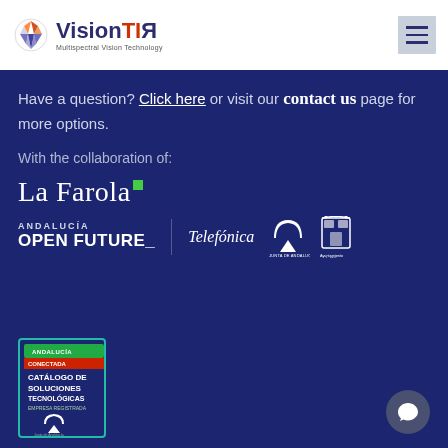[Figure (logo): VisionTIR Multispectral Vision Technology logo with colorful circular icon]
[Figure (other): Hamburger menu icon (three horizontal lines) on light gray background]
Have a question? Click here or visit our contact us page for more options.
With the collaboration of:
[Figure (logo): La Farola logo with green square accent]
[Figure (logo): Andalucia Open Future_ Telefonica Junta de Andalucia Ayuntamiento de Malaga logos row]
[Figure (logo): Andalucia Conectada Catalogo de Soluciones Tecnologicas Empresa Registrada badge from Junta de Andalucia]
[Figure (other): Chat bubble icon button in bottom right corner]